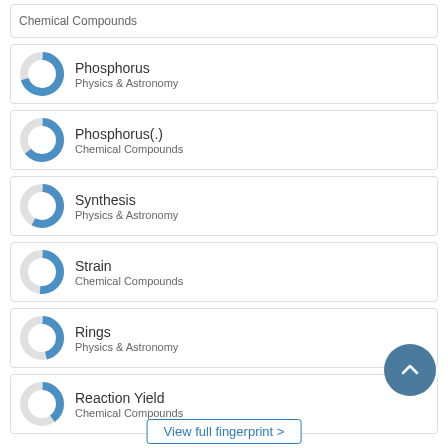Chemical Compounds (truncated top)
Phosphorus
Physics & Astronomy
Phosphorus(.)
Chemical Compounds
Synthesis
Physics & Astronomy
Strain
Chemical Compounds
Rings
Physics & Astronomy
Reaction Yield
Chemical Compounds
View full fingerprint >